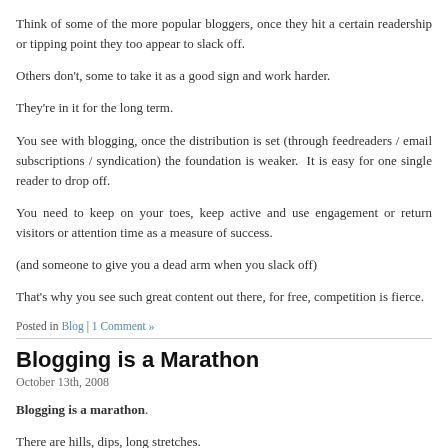Think of some of the more popular bloggers, once they hit a certain readership or tipping point they too appear to slack off.
Others don't, some to take it as a good sign and work harder.
They're in it for the long term.
You see with blogging, once the distribution is set (through feedreaders / email subscriptions / syndication) the foundation is weaker.  It is easy for one single reader to drop off.
You need to keep on your toes, keep active and use engagement or return visitors or attention time as a measure of success.
(and someone to give you a dead arm when you slack off)
That's why you see such great content out there, for free, competition is fierce.
Posted in Blog | 1 Comment »
Blogging is a Marathon
October 13th, 2008
Blogging is a marathon.
There are hills, dips, long stretches.
The context weather changes…